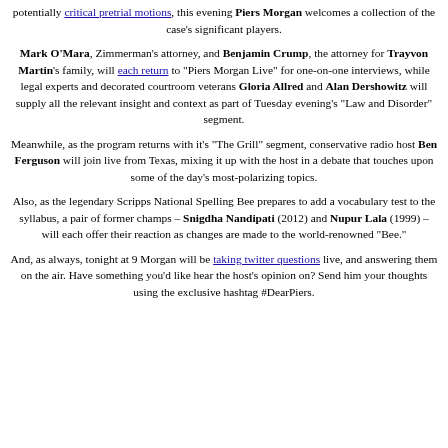potentially critical pretrial motions, this evening Piers Morgan welcomes a collection of the case's significant players.
Mark O'Mara, Zimmerman's attorney, and Benjamin Crump, the attorney for Trayvon Martin's family, will each return to "Piers Morgan Live" for one-on-one interviews, while legal experts and decorated courtroom veterans Gloria Allred and Alan Dershowitz will supply all the relevant insight and context as part of Tuesday evening's "Law and Disorder" segment.
Meanwhile, as the program returns with it's "The Grill" segment, conservative radio host Ben Ferguson will join live from Texas, mixing it up with the host in a debate that touches upon some of the day's most-polarizing topics.
Also, as the legendary Scripps National Spelling Bee prepares to add a vocabulary test to the syllabus, a pair of former champs – Snigdha Nandipati (2012) and Nupur Lala (1999) – will each offer their reaction as changes are made to the world-renowned "Bee."
And, as always, tonight at 9 Morgan will be taking twitter questions live, and answering them on the air. Have something you'd like hear the host's opinion on? Send him your thoughts using the exclusive hashtag #DearPiers.